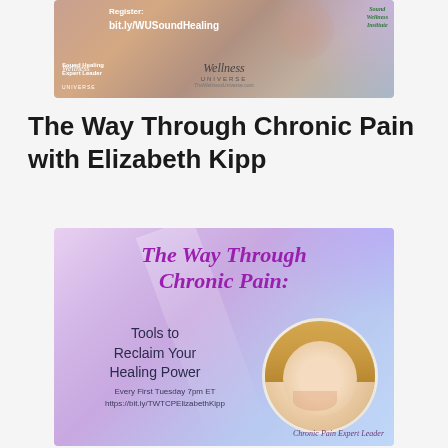[Figure (illustration): Wellness Universe Sound Healing promotional banner with register URL bit.ly/WUSoundHealing, Sound Healing Expert Leader text, Wellness Universe logo, and Sound Wellness Institute logo]
The Way Through Chronic Pain with Elizabeth Kipp
[Figure (illustration): Promotional graphic for 'The Way Through Chronic Pain: Tools to Reclaim Your Healing Power' with purple/lavender gradient background, script text, portrait photo of Elizabeth Kipp (blonde woman smiling), and text 'Every First Tuesday 7pm ET https://bit.ly/TWTCPElizabethKipp' and 'Chronic Pain Expert Leader']